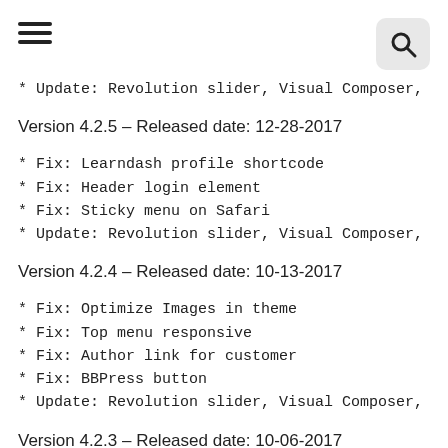hamburger menu and search icon
* Update: Revolution slider, Visual Composer,
Version 4.2.5 – Released date: 12-28-2017
* Fix: Learndash profile shortcode
* Fix: Header login element
* Fix: Sticky menu on Safari
* Update: Revolution slider, Visual Composer,
Version 4.2.4 – Released date: 10-13-2017
* Fix: Optimize Images in theme
* Fix: Top menu responsive
* Fix: Author link for customer
* Fix: BBPress button
* Update: Revolution slider, Visual Composer,
Version 4.2.3 – Released date: 10-06-2017